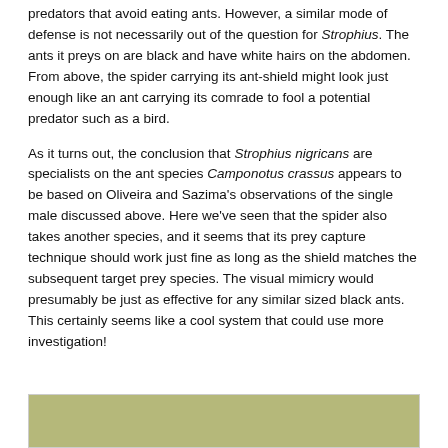predators that avoid eating ants. However, a similar mode of defense is not necessarily out of the question for Strophius. The ants it preys on are black and have white hairs on the abdomen. From above, the spider carrying its ant-shield might look just enough like an ant carrying its comrade to fool a potential predator such as a bird.
As it turns out, the conclusion that Strophius nigricans are specialists on the ant species Camponotus crassus appears to be based on Oliveira and Sazima's observations of the single male discussed above. Here we've seen that the spider also takes another species, and it seems that its prey capture technique should work just fine as long as the shield matches the subsequent target prey species. The visual mimicry would presumably be just as effective for any similar sized black ants. This certainly seems like a cool system that could use more investigation!
[Figure (photo): Partial photograph showing a green-yellow background, bottom portion of image cut off]